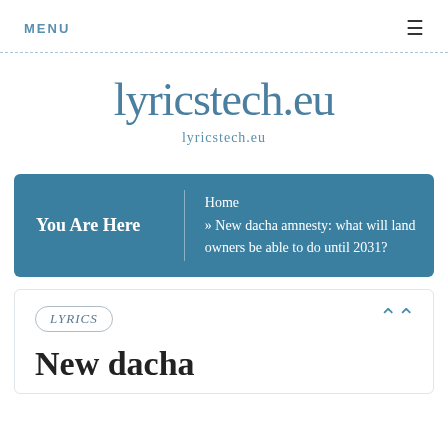MENU ≡
lyricstech.eu
lyricstech.eu
You Are Here  Home » New dacha amnesty: what will land owners be able to do until 2031?
LYRICS
New dacha